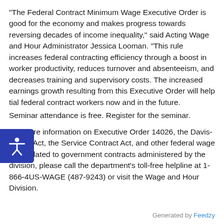“The Federal Contract Minimum Wage Executive Order is good for the economy and makes progress towards reversing decades of income inequality,” said Acting Wage and Hour Administrator Jessica Looman. “This rule increases federal contracting efficiency through a boost in worker productivity, reduces turnover and absenteeism, and decreases training and supervisory costs. The increased earnings growth resulting from this Executive Order will help tial federal contract workers now and in the future.
Seminar attendance is free. Register for the seminar.
For more information on Executive Order 14026, the Davis-Bacon Act, the Service Contract Act, and other federal wage laws related to government contracts administered by the division, please call the department’s toll-free helpline at 1-866-4US-WAGE (487-9243) or visit the Wage and Hour Division.
Generated by Feedzy